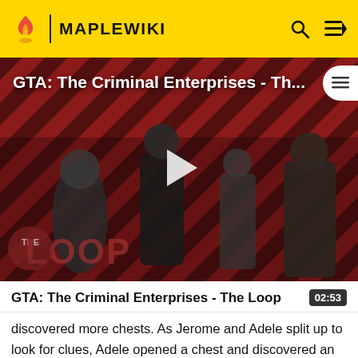MAPLEWIKI
[Figure (screenshot): Video thumbnail for GTA: The Criminal Enterprises - The Loop, showing game characters on a red diagonal-striped background with a play button and The Loop logo overlay]
GTA: The Criminal Enterprises - The Loop
discovered more chests. As Jerome and Adele split up to look for clues, Adele opened a chest and discovered an old glove, the same kind worn by a knight of the royal family. Upon touching it, she was consumed by a memory